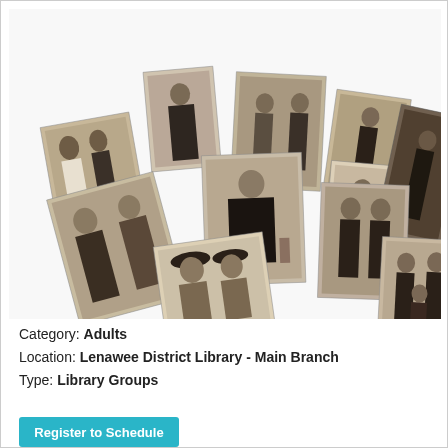[Figure (photo): A collage of vintage sepia-toned black and white portrait photographs showing various groups of people, couples, and individuals from the late 19th or early 20th century, arranged in an overlapping scattered layout.]
Category: Adults
Location: Lenawee District Library - Main Branch
Type: Library Groups
Register to Schedule